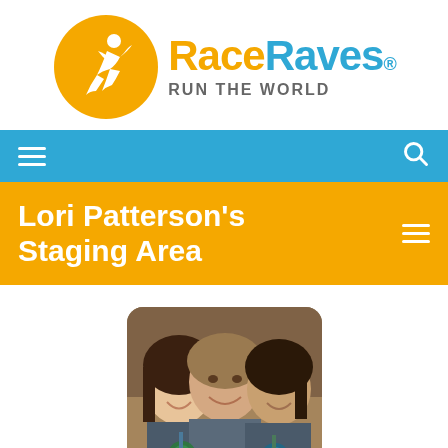[Figure (logo): RaceRaves logo with runner icon and tagline 'RUN THE WORLD']
Navigation bar with hamburger menu and search icon
Lori Patterson's Staging Area
[Figure (photo): Profile photo of three people smiling and holding race medals]
@I.Ran.That